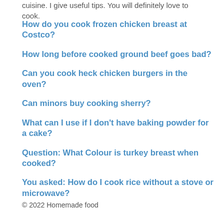cuisine. I give useful tips. You will definitely love to cook.
How do you cook frozen chicken breast at Costco?
How long before cooked ground beef goes bad?
Can you cook heck chicken burgers in the oven?
Can minors buy cooking sherry?
What can I use if I don't have baking powder for a cake?
Question: What Colour is turkey breast when cooked?
You asked: How do I cook rice without a stove or microwave?
© 2022 Homemade food